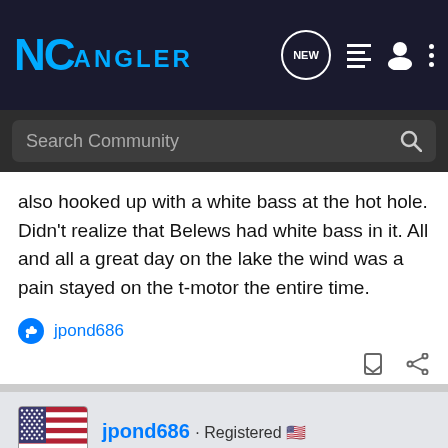NC ANGLER
Search Community
also hooked up with a white bass at the hot hole. Didn't realize that Belews had white bass in it. All and all a great day on the lake the wind was a pain stayed on the t-motor the entire time.
jpond686
jpond686 · Registered · Joined Jan 26, 2006 · 258 Posts
#2 · Mar 21, 2008
Devildognc,
Thanks for the report!! I'm headed out that way later today